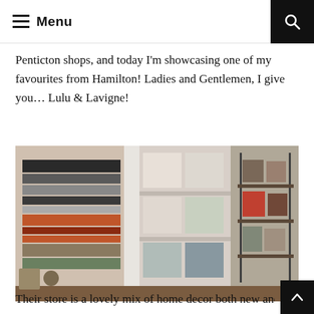Menu
Penticton shops, and today I'm showcasing one of my favourites from Hamilton! Ladies and Gentlemen, I give you… Lulu & Lavigne!
[Figure (photo): Interior of Lulu & Lavigne store showing shelves with blankets/textiles on the left, pillows stacked in the middle, and a metal shelving unit with bags and accessories on the right.]
Their store is a lovely mix of home decor both new and vint...